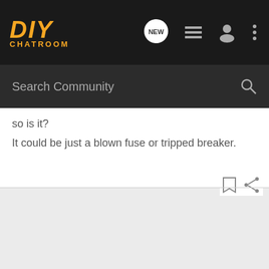[Figure (screenshot): DIY Chatroom website header with logo, NEW chat bubble icon, list icon, user icon, and more options icon on dark background]
[Figure (screenshot): Search Community search bar on dark gray background with magnifying glass icon]
so is it?
It could be just a blown fuse or tripped breaker.
[Figure (screenshot): Bookmark and share icons at bottom right of post]
[Figure (screenshot): Light gray empty area at bottom of page]